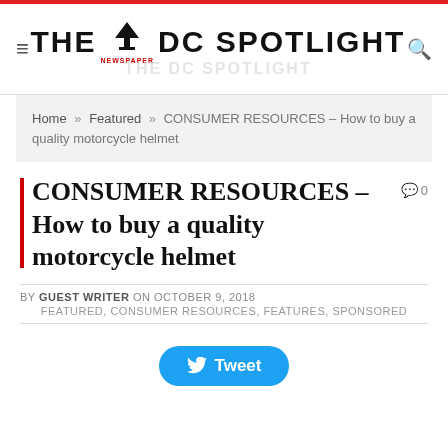THE DC SPOTLIGHT — Newspaper logo header
Home » Featured » CONSUMER RESOURCES – How to buy a quality motorcycle helmet
CONSUMER RESOURCES – How to buy a quality motorcycle helmet
BY GUEST WRITER ON OCTOBER 9, 2018
FEATURED, CONSUMER RESOURCES, FEATURES, SPONSORED
[Figure (other): Tweet button - social sharing button for Twitter]